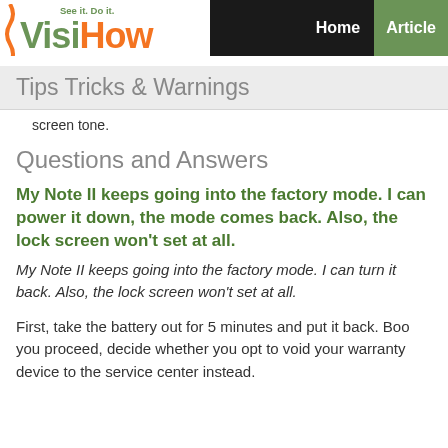VisiHow — See it. Do it. | Home | Articles
Tips Tricks & Warnings
screen tone.
Questions and Answers
My Note II keeps going into the factory mode. I can power it down, the mode comes back. Also, the lock screen won't set at all.
My Note II keeps going into the factory mode. I can turn it back. Also, the lock screen won't set at all.
First, take the battery out for 5 minutes and put it back. Boo you proceed, decide whether you opt to void your warranty device to the service center instead.